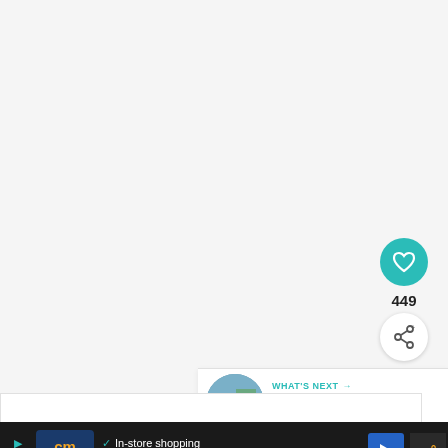[Figure (screenshot): Light gray main content area (mostly blank/loading)]
[Figure (screenshot): Teal heart/like button with count 449 and share button]
449
[Figure (screenshot): What's Next panel with thumbnail and text: Canada Reopening F...]
WHAT'S NEXT → Canada Reopening F...
[Figure (screenshot): Advertisement banner: cm logo, In-store shopping, Curbside pickup, Delivery]
In-store shopping
Curbside pickup
Delivery